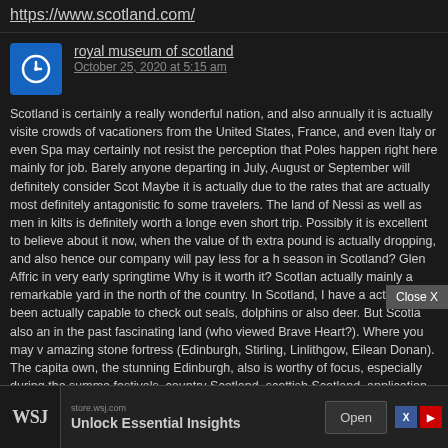https://www.scotland.com/
royal museum of scotland
October 25, 2020 at 5:15 am
Scotland is certainly a really wonderful nation, and also annually it is actually visited by crowds of vacationers from the United States, France, and even Italy or even Spain. You may certainly not resist the perception that Poles happen right here mainly for job. Barely anyone departing in July, August or September will definitely consider Scotland. Maybe it is actually due to the rates that are actually most definitely antagonistic for some travelers. The land of Nessi as well as men in kilts is definitely worth a longer or even short trip. Possibly it is excellent to believe about it now, when the value of the extra pound is actually dropping, and also hence our company will pay less for a holiday season in Scotland? Glen Affric in very early springtime Why is it worth it? Scotland is actually mainly a remarkable yard in the north of the country. In Scotland, I have actually been actually capable to check out seals, dolphins or also deer. But Scotland is also an in the past fascinating land (who viewed Brave Heart?). Where you may visit amazing stone fortress (Edinburgh, Stirling, Linlithgow, Eilean Donan). The capital on its own, the stunning Edinburgh, also is worthy of focus, especially during the summer festivals. country Scotland, scottish Scotland, application Scotland, conservative Scotland, info Scotland, scotland Scotland, our team Scotland, edinburgh Scotland, one Scotland, creed Scotland, chart Scotland, iona Scotland, section Scotland, trip Scotland, records Scotland, background Scotland, car Scotland, ship Scotland, Scotland, Scotland, lif Scotland, li Scotland, ea
[Figure (screenshot): WSJ advertisement banner: store.wsj.com - Unlock Essential Insights - Open button, with X and play icons]